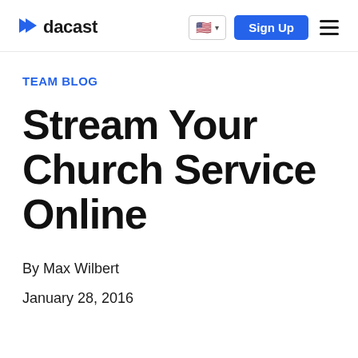dacast | Sign Up
TEAM BLOG
Stream Your Church Service Online
By Max Wilbert
January 28, 2016